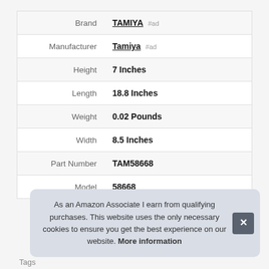| Attribute | Value |
| --- | --- |
| Brand | TAMIYA #ad |
| Manufacturer | Tamiya #ad |
| Height | 7 Inches |
| Length | 18.8 Inches |
| Weight | 0.02 Pounds |
| Width | 8.5 Inches |
| Part Number | TAM58668 |
| Model | 58668 |
As an Amazon Associate I earn from qualifying purchases. This website uses the only necessary cookies to ensure you get the best experience on our website. More information
Tags